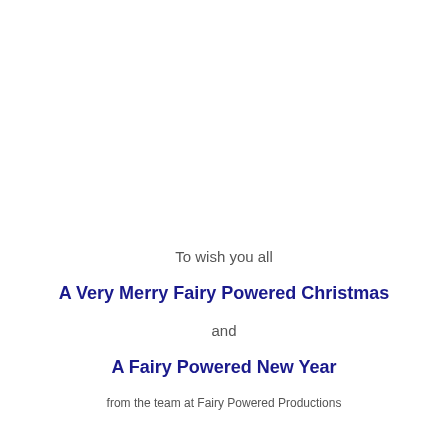To wish you all
A Very Merry Fairy Powered Christmas
and
A Fairy Powered New Year
from the team at Fairy Powered Productions